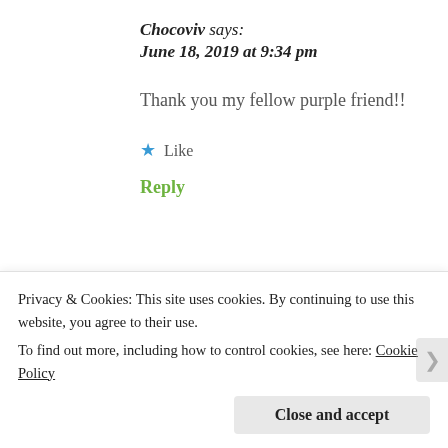Chocoviv says:
June 18, 2019 at 9:34 pm
Thank you my fellow purple friend!!
★ Like
Reply
Ann says:
Privacy & Cookies: This site uses cookies. By continuing to use this website, you agree to their use.
To find out more, including how to control cookies, see here: Cookie Policy
Close and accept